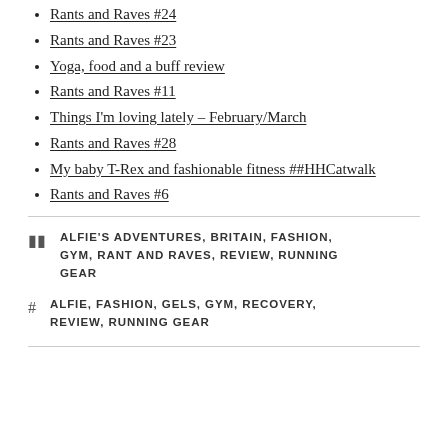Rants and Raves #24
Rants and Raves #23
Yoga, food and a buff review
Rants and Raves #11
Things I'm loving lately – February/March
Rants and Raves #28
My baby T-Rex and fashionable fitness ##HHCatwalk
Rants and Raves #6
ALFIE'S ADVENTURES, BRITAIN, FASHION, GYM, RANT AND RAVES, REVIEW, RUNNING GEAR
ALFIE, FASHION, GELS, GYM, RECOVERY, REVIEW, RUNNING GEAR